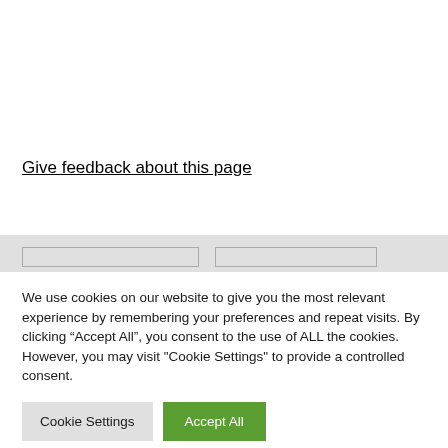Give feedback about this page
We use cookies on our website to give you the most relevant experience by remembering your preferences and repeat visits. By clicking “Accept All”, you consent to the use of ALL the cookies. However, you may visit "Cookie Settings" to provide a controlled consent.
Cookie Settings
Accept All